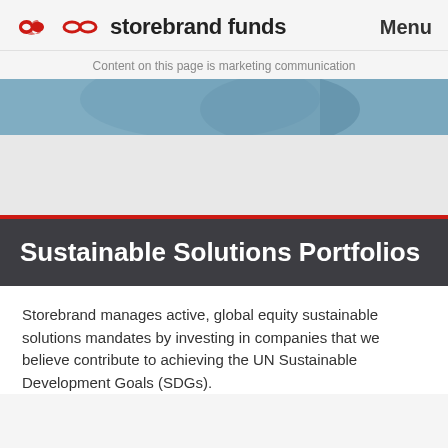storebrand funds   Menu
Content on this page is marketing communication
[Figure (photo): Partial view of a person's face/eye, blue-toned image strip]
Sustainable Solutions Portfolios
Storebrand manages active, global equity sustainable solutions mandates by investing in companies that we believe contribute to achieving the UN Sustainable Development Goals (SDGs).